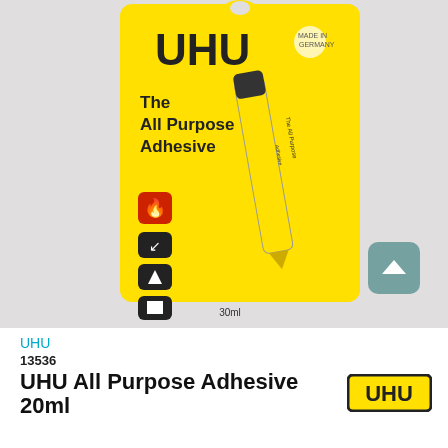[Figure (photo): UHU All Purpose Adhesive 20ml product photo showing the yellow blister card packaging with a glue tube on a light background]
UHU
13536
UHU All Purpose Adhesive 20ml
[Figure (logo): UHU logo in black bold text on yellow background with black border]